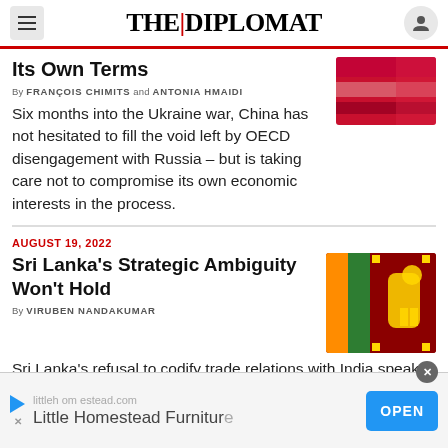THE DIPLOMAT
Its Own Terms
By FRANÇOIS CHIMITS and ANTONIA HMAIDI
Six months into the Ukraine war, China has not hesitated to fill the void left by OECD disengagement with Russia – but is taking care not to compromise its own economic interests in the process.
AUGUST 19, 2022
Sri Lanka's Strategic Ambiguity Won't Hold
By VIRUBEN NANDAKUMAR
Sri Lanka's refusal to codify trade relations with India speaks to a consistent policy of strategic ambiguity.
littlehomestead.com  Little Homestead Furniture  OPEN